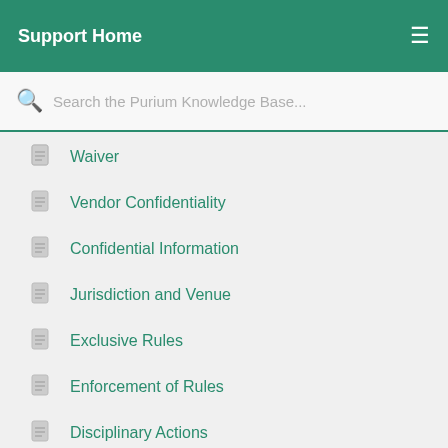Support Home
Search the Purium Knowledge Base...
Waiver
Vendor Confidentiality
Confidential Information
Jurisdiction and Venue
Exclusive Rules
Enforcement of Rules
Disciplinary Actions
Involuntary Termination and Appeal Proce...
See all 14 articles